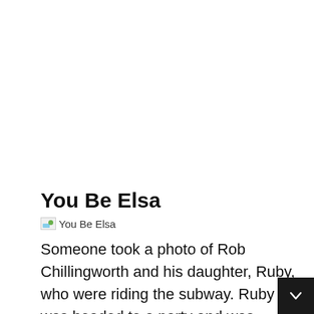You Be Elsa
[Figure (photo): Broken/placeholder image icon with alt text 'You Be Elsa']
Someone took a photo of Rob Chillingworth and his daughter, Ruby, who were riding the subway. Ruby was headed to a party and was dressed as Olaf the snowman. But Chillingworth, who's into heavy metal and owns a tattoo shop wore a cape